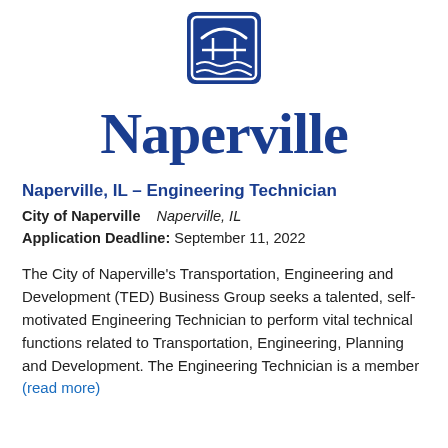[Figure (logo): City of Naperville logo — blue square icon with stylized bridge/waves and 'Naperville' text in large blue serif font]
Naperville, IL – Engineering Technician
City of Naperville    Naperville, IL
Application Deadline: September 11, 2022
The City of Naperville's Transportation, Engineering and Development (TED) Business Group seeks a talented, self-motivated Engineering Technician to perform vital technical functions related to Transportation, Engineering, Planning and Development. The Engineering Technician is a member (read more)